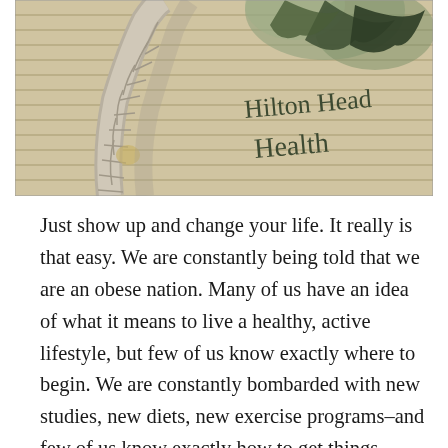[Figure (photo): A photograph of a building exterior with a decorative palm tree sculpture and a sign reading 'Hilton Head Health' in cursive script on a light yellow siding wall.]
Just show up and change your life. It really is that easy. We are constantly being told that we are an obese nation. Many of us have an idea of what it means to live a healthy, active lifestyle, but few of us know exactly where to begin. We are constantly bombarded with new studies, new diets, new exercise programs–and few of us know exactly how to get things going, let alone get the to changes stick. If overwhelmed